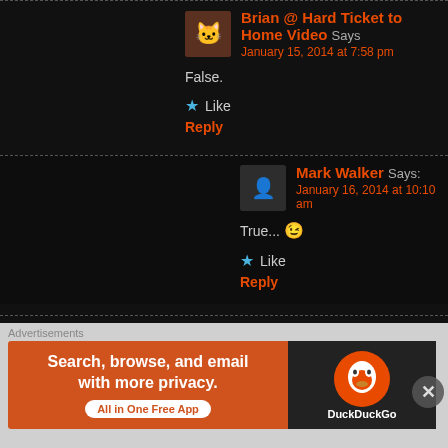Brian @ Hard Ticket to Home Video Says: January 15, 2014 at 7:58 pm
False.
★ Like
Reply
Mark Walker Says: January 16, 2014 at 10:10 am
True... 😉
★ Like
Reply
Smash Says: January 15, 2014 at 9:09 pm
I love the idea of a Gremlins movie directed by Burton. But p... Depp because that relationship has become stale.
★ Like
Advertisements
[Figure (infographic): DuckDuckGo advertisement banner: orange left side with text 'Search, browse, and email with more privacy. All in One Free App', dark right side with DuckDuckGo duck logo]